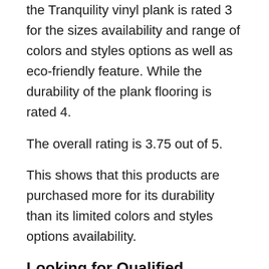the Tranquility vinyl plank is rated 3 for the sizes availability and range of colors and styles options as well as eco-friendly feature. While the durability of the plank flooring is rated 4.
The overall rating is 3.75 out of 5.
This shows that this products are purchased more for its durability than its limited colors and styles options availability.
Looking for Qualified Installer for Tranquility Flooring
Some readers express their complaints about not being able to find the local installers or overpaid the installation.